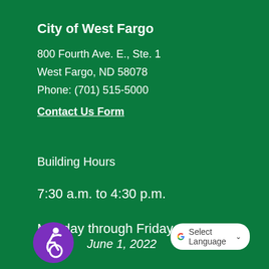City of West Fargo
800 Fourth Ave. E., Ste. 1
West Fargo, ND 58078
Phone: (701) 515-5000
Contact Us Form
Building Hours
7:30 a.m. to 4:30 p.m.
Monday through Friday
[Figure (illustration): Accessibility wheelchair icon in purple circle]
June 1, 2022
[Figure (logo): Google Translate button with G logo and Select Language dropdown]